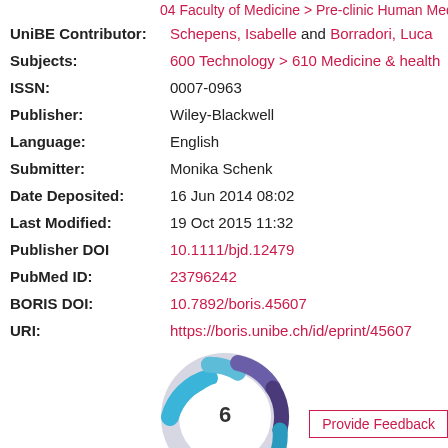04 Faculty of Medicine > Pre-clinic Human Medicine >
UniBE Contributor: Schepens, Isabelle and Borradori, Luca
Subjects: 600 Technology > 610 Medicine & health
ISSN: 0007-0963
Publisher: Wiley-Blackwell
Language: English
Submitter: Monika Schenk
Date Deposited: 16 Jun 2014 08:02
Last Modified: 19 Oct 2015 11:32
Publisher DOI: 10.1111/bjd.12479
PubMed ID: 23796242
BORIS DOI: 10.7892/boris.45607
URI: https://boris.unibe.ch/id/eprint/45607
[Figure (other): Altmetric donut badge showing score of 6]
Provide Feedback